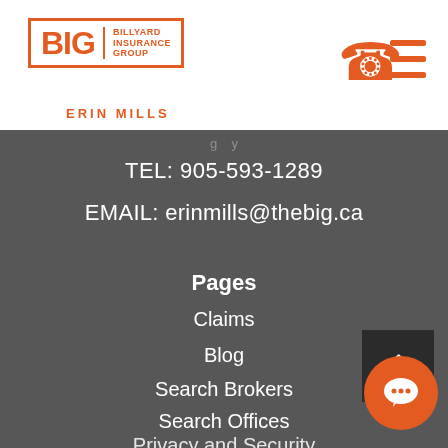[Figure (logo): BIG - Billyard Insurance Group logo with orange border and text, with 'ERIN MILLS' subtitle]
[Figure (other): Orange phone icon and hamburger menu icon in top right]
TEL: 905-593-1289
EMAIL: erinmills@thebig.ca
Pages
Claims
Blog
Search Brokers
Search Offices
Privacy and Security
Terms of Use